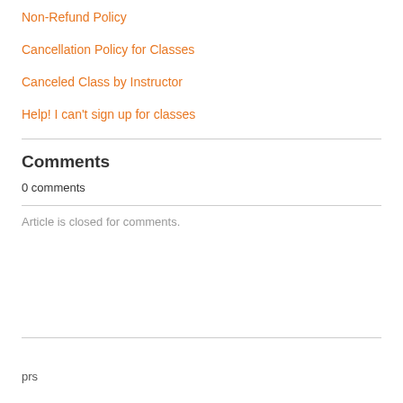Non-Refund Policy
Cancellation Policy for Classes
Canceled Class by Instructor
Help! I can't sign up for classes
Comments
0 comments
Article is closed for comments.
prs